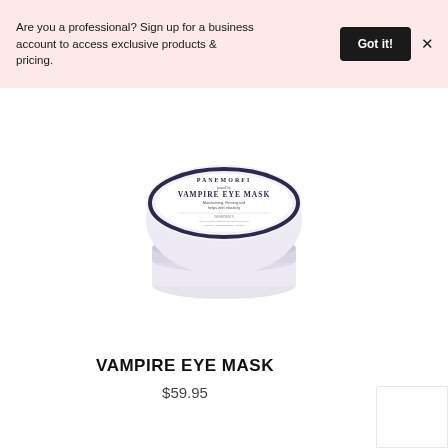Are you a professional? Sign up for a business account to access exclusive products & pricing.
Got it!
[Figure (photo): A round white cosmetic jar labeled PANEMORFI Vampire Eye Mask, stacked with additional product containers visible below]
VAMPIRE EYE MASK
$59.95